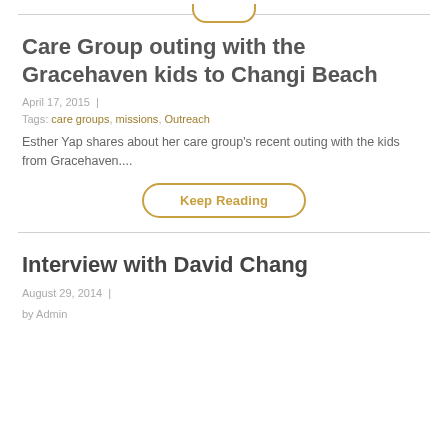Care Group outing with the Gracehaven kids to Changi Beach
April 17, 2015  |
Tags: care groups, missions, Outreach
Esther Yap shares about her care group’s recent outing with the kids from Gracehaven....
Keep Reading
Interview with David Chang
August 29, 2014  |
by Admin